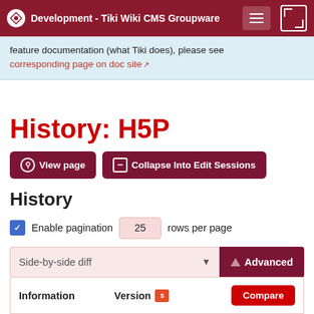Development - Tiki Wiki CMS Groupware
feature documentation (what Tiki does), please see corresponding page on doc site
History: H5P
View page | Collapse Into Edit Sessions
History
Enable pagination 25 rows per page
Side-by-side diff | Advanced
| Information | Version |  | Compare |
| --- | --- | --- | --- |